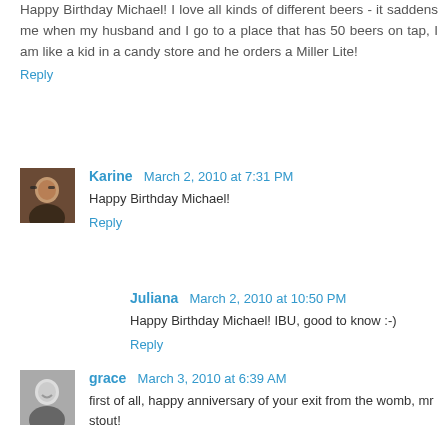Happy Birthday Michael! I love all kinds of different beers - it saddens me when my husband and I go to a place that has 50 beers on tap, I am like a kid in a candy store and he orders a Miller Lite!
Reply
Karine  March 2, 2010 at 7:31 PM
Happy Birthday Michael!
Reply
Juliana  March 2, 2010 at 10:50 PM
Happy Birthday Michael! IBU, good to know :-)
Reply
grace  March 3, 2010 at 6:39 AM
first of all, happy anniversary of your exit from the womb, mr stout!